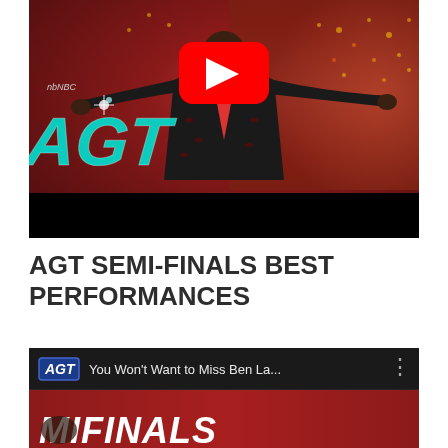[Figure (screenshot): YouTube video thumbnail showing a performer in a black and red embroidered jacket with arms outstretched on the AGT (America's Got Talent) stage, with confetti and a YouTube play button overlay. AGT logo visible in teal/cyan at bottom left. NBC logo visible. Black bar at bottom of thumbnail.]
AGT SEMI-FINALS BEST PERFORMANCES
[Figure (screenshot): YouTube video thumbnail for AGT video titled 'You Won't Want to Miss Ben La...' with AGT logo, three-dot menu icon, and SEMIFINALS text visible at bottom in red background.]